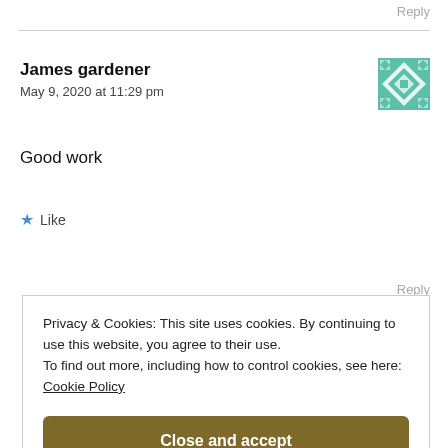Reply
James gardener
May 9, 2020 at 11:29 pm
[Figure (illustration): Teal and white geometric quilt-pattern avatar icon]
Good work
★ Like
Reply
Privacy & Cookies: This site uses cookies. By continuing to use this website, you agree to their use.
To find out more, including how to control cookies, see here:
Cookie Policy
Close and accept
★ Like